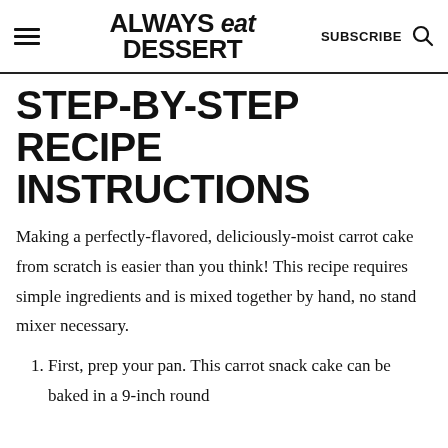ALWAYS eat DESSERT | SUBSCRIBE
STEP-BY-STEP RECIPE INSTRUCTIONS
Making a perfectly-flavored, deliciously-moist carrot cake from scratch is easier than you think! This recipe requires simple ingredients and is mixed together by hand, no stand mixer necessary.
1. First, prep your pan. This carrot snack cake can be baked in a 9-inch round